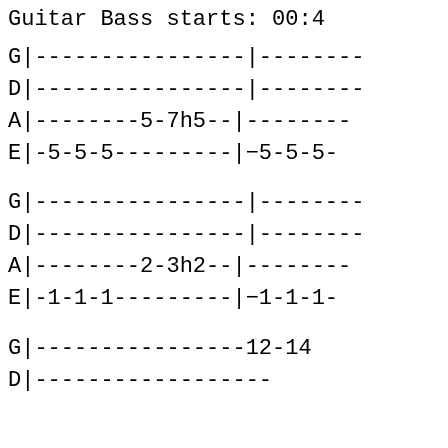Guitar Bass starts: 00:4
G|----------------|--------
D|----------------|--------
A|--------5-7h5--|--------
E|-5-5-5---------|−5-5-5-
G|----------------|--------
D|----------------|--------
A|--------2-3h2--|--------
E|-1-1-1---------|−1-1-1-
G|----------------12-14
D|------------------